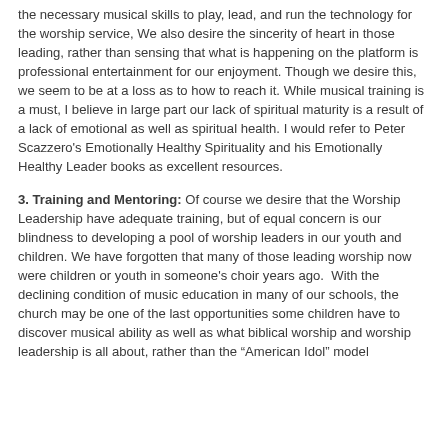the necessary musical skills to play, lead, and run the technology for the worship service, We also desire the sincerity of heart in those leading, rather than sensing that what is happening on the platform is professional entertainment for our enjoyment. Though we desire this, we seem to be at a loss as to how to reach it. While musical training is a must, I believe in large part our lack of spiritual maturity is a result of a lack of emotional as well as spiritual health. I would refer to Peter Scazzero's Emotionally Healthy Spirituality and his Emotionally Healthy Leader books as excellent resources.
3. Training and Mentoring: Of course we desire that the Worship Leadership have adequate training, but of equal concern is our blindness to developing a pool of worship leaders in our youth and children. We have forgotten that many of those leading worship now were children or youth in someone's choir years ago. With the declining condition of music education in many of our schools, the church may be one of the last opportunities some children have to discover musical ability as well as what biblical worship and worship leadership is all about, rather than the "American Idol" model